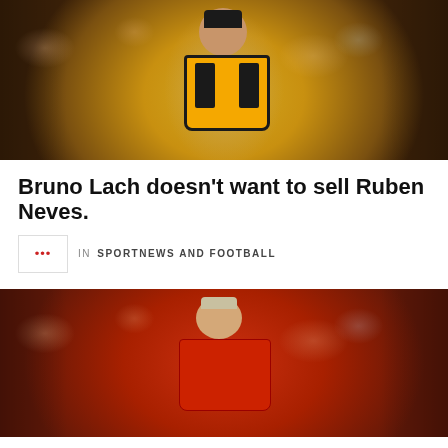[Figure (photo): A footballer wearing a Wolverhampton Wanderers yellow and black jersey with Adidas logo and Chinese sponsor text, running on a pitch with blurred crowd background]
Bruno Lach doesn’t want to sell Ruben Neves.
in SPORTNEWS AND FOOTBALL
[Figure (photo): A footballer wearing a Manchester United red jersey with the Manchester United crest and TeamViewer sponsor logo, standing on the pitch]